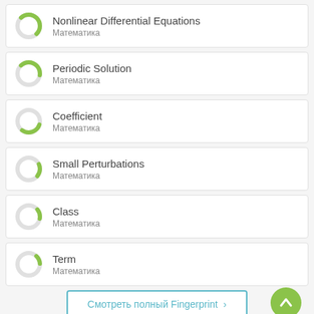Nonlinear Differential Equations
Математика
Periodic Solution
Математика
Coefficient
Математика
Small Perturbations
Математика
Class
Математика
Term
Математика
Смотреть полный Fingerprint ›